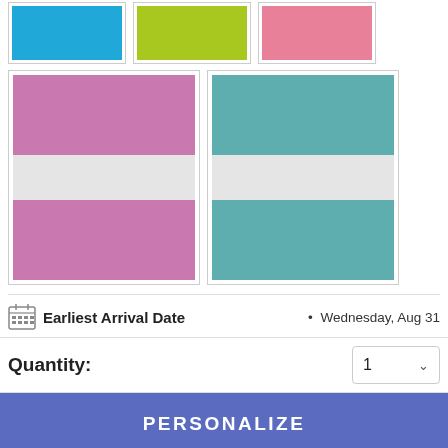[Figure (photo): Top row of three color swatches: blue, lime green, and pink solid color blocks]
[Figure (photo): Bottom row of two striped swatches: pink/white/pink stripes and teal/white/teal stripes]
Earliest Arrival Date • Wednesday, Aug 31
Quantity: 1
PERSONALIZE
4.7 | 461 Reviews
Make a splash at the beach (or by the pool) with this eye-catching